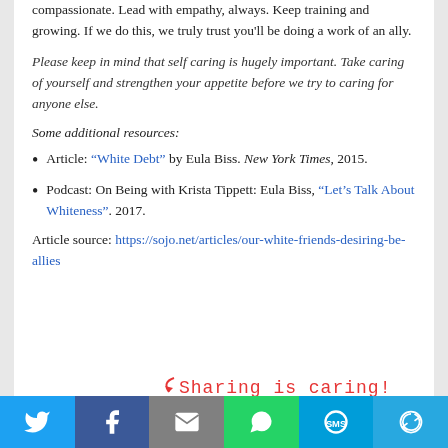compassionate. Lead with empathy, always. Keep training and growing. If we do this, we truly trust you'll be doing a work of an ally.
Please keep in mind that self caring is hugely important. Take caring of yourself and strengthen your appetite before we try to caring for anyone else.
Some additional resources:
Article: “White Debt” by Eula Biss. New York Times, 2015.
Podcast: On Being with Krista Tippett: Eula Biss, “Let’s Talk About Whiteness”. 2017.
Article source: https://sojo.net/articles/our-white-friends-desiring-be-allies
[Figure (other): Sharing is caring! text in red handwritten style with arrow, above social sharing buttons]
Social sharing bar: Twitter, Facebook, Email, WhatsApp, SMS, More